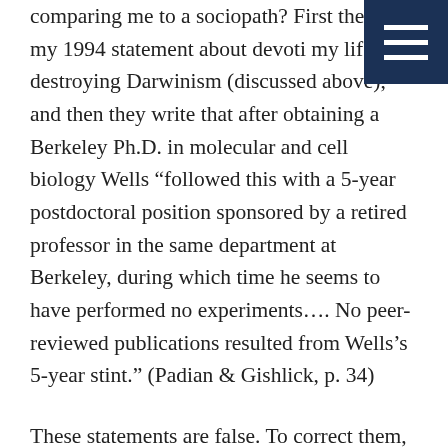comparing me to a sociopath? First they quote my 1994 statement about devoting my life to destroying Darwinism (discussed above), and then they write that after obtaining a Berkeley Ph.D. in molecular and cell biology Wells “followed this with a 5-year postdoctoral position sponsored by a retired professor in the same department at Berkeley, during which time he seems to have performed no experiments…. No peer-reviewed publications resulted from Wells’s 5-year stint.” (Padian & Gishlick, p. 34)
These statements are false. To correct them, one of the Berkeley biologists with whom I collaborated from the
[Figure (other): Navigation menu icon (hamburger menu) with three horizontal white lines on a dark navy blue square background, positioned in the top-right corner of the page.]